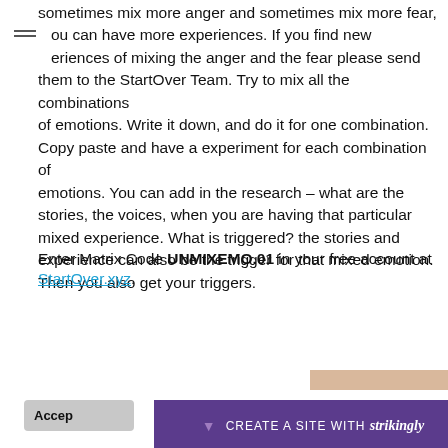sometimes mix more anger and sometimes mix more fear, you can have more experiences. If you find new experiences of mixing the anger and the fear please send them to the StartOver Team. Try to mix all the combinations of emotions. Write it down, and do it for one combination. Copy paste and have a experiment for each combination of emotions. You can add in the research – what are the stories, the voices, when you are having that particular mixed experience. What is triggered? the stories and experience can also be the trigger for that mixed emotion. Then you also get your triggers.
Enter Matrix Code UNMIXEMO.01 in your free account at StartOver.xyz.
[Figure (screenshot): Cookie Use popup box with text: We use cookies to ensure a smooth browsing experience. By accepting, you agree the use of cookies. Learn More. Accept button visible. Strikingly site builder bar at the bottom with CREATE A SITE WITH strikingly text.]